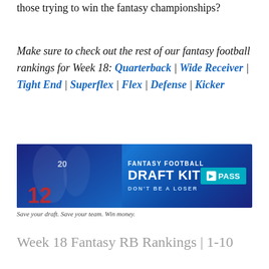those trying to win the fantasy championships?
Make sure to check out the rest of our fantasy football rankings for Week 18: Quarterback | Wide Receiver | Tight End | Superflex | Flex | Defense | Kicker
[Figure (infographic): Fantasy Football Draft Kit advertisement banner. Shows football players on the left (jersey #12 visible), text reads FANTASY FOOTBALL DRAFT KIT DON'T BE A LOSER, with a cyan PASS badge on the right.]
Save your draft. Save your team. Win money.
Week 18 Fantasy RB Rankings | 1-10